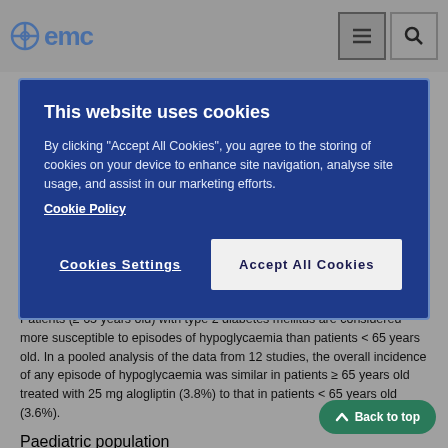[Figure (screenshot): EMC website navigation bar with logo and menu/search icons]
This website uses cookies

By clicking "Accept All Cookies", you agree to the storing of cookies on your device to enhance site navigation, analyse site usage, and assist in our marketing efforts.
Cookie Policy

Cookies Settings   Accept All Cookies
Patients (≥ 65 years old) with type 2 diabetes mellitus are considered more susceptible to episodes of hypoglycaemia than patients < 65 years old. In a pooled analysis of the data from 12 studies, the overall incidence of any episode of hypoglycaemia was similar in patients ≥ 65 years old treated with 25 mg alogliptin (3.8%) to that in patients < 65 years old (3.6%).
Paediatric population
The European Medicines Agency has deferred the obligation to submit the results of studies with Vipidia in one or more subsets of the paediatric population in the treatment of type 2 diabetes mellitus (see section for information on paediatric use).